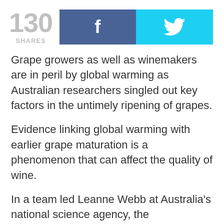[Figure (infographic): Share count showing 130 SHARES with Facebook and Twitter share buttons]
Grape growers as well as winemakers are in peril by global warming as Australian researchers singled out key factors in the untimely ripening of grapes.
Evidence linking global warming with earlier grape maturation is a phenomenon that can affect the quality of wine.
In a team led Leanne Webb at Australia's national science agency, the Commonwealth Scientific and Industrial Research Organization (CSIRO), looked at 10 sites in southern Australia where there were highly